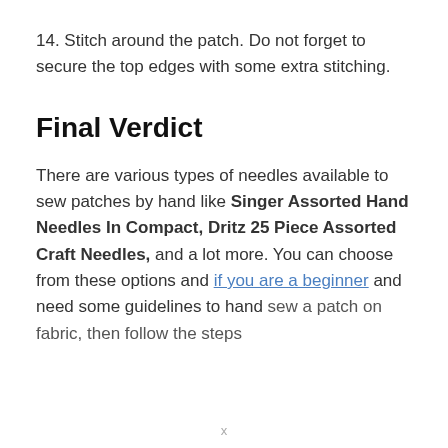14. Stitch around the patch. Do not forget to secure the top edges with some extra stitching.
Final Verdict
There are various types of needles available to sew patches by hand like Singer Assorted Hand Needles In Compact, Dritz 25 Piece Assorted Craft Needles, and a lot more. You can choose from these options and if you are a beginner and need some guidelines to hand sew a patch on fabric, then follow the steps
x